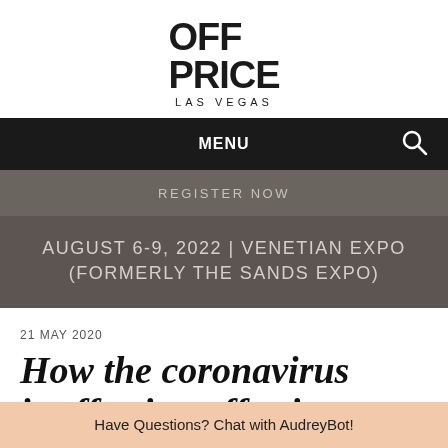[Figure (logo): OFF PRICE LAS VEGAS logo in black bold text on white background]
MENU
REGISTER NOW
AUGUST 6-9, 2022 | VENETIAN EXPO (FORMERLY THE SANDS EXPO)
21 MAY 2020
How the coronavirus is affecting off price
Have Questions? Chat with AudreyBot!